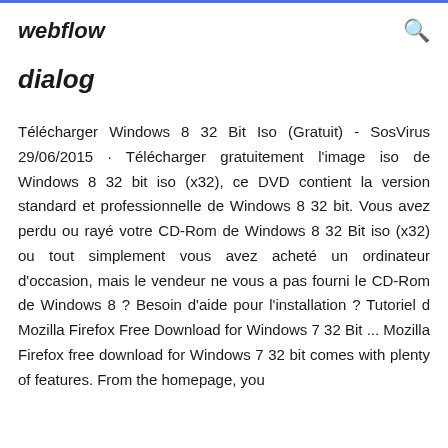webflow
dialog
Télécharger Windows 8 32 Bit Iso (Gratuit) - SosVirus 29/06/2015 · Télécharger gratuitement l'image iso de Windows 8 32 bit iso (x32), ce DVD contient la version standard et professionnelle de Windows 8 32 bit. Vous avez perdu ou rayé votre CD-Rom de Windows 8 32 Bit iso (x32) ou tout simplement vous avez acheté un ordinateur d'occasion, mais le vendeur ne vous a pas fourni le CD-Rom de Windows 8 ? Besoin d'aide pour l'installation ? Tutoriel d Mozilla Firefox Free Download for Windows 7 32 Bit ... Mozilla Firefox free download for Windows 7 32 bit comes with plenty of features. From the homepage, you